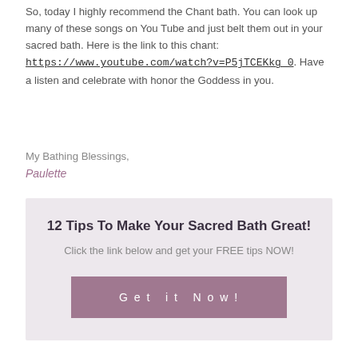So, today I highly recommend the Chant bath. You can look up many of these songs on You Tube and just belt them out in your sacred bath. Here is the link to this chant: https://www.youtube.com/watch?v=P5jTCEKkg_0. Have a listen and celebrate with honor the Goddess in you.
My Bathing Blessings,
Paulette
12 Tips To Make Your Sacred Bath Great!
Click the link below and get your FREE tips NOW!
Get it Now!